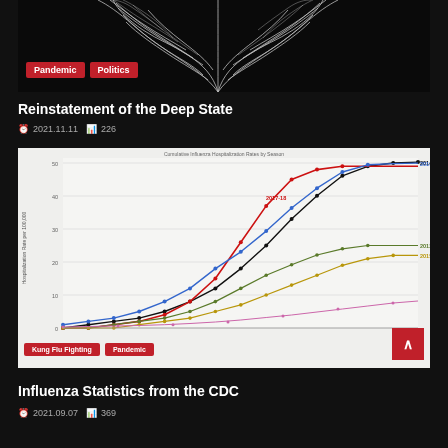[Figure (illustration): Black background with white neural network / root-like branching illustration]
Pandemic
Politics
Reinstatement of the Deep State
2021.11.11  226
[Figure (line-chart): Multi-series cumulative line chart showing influenza hospitalization rates per 100,000 for seasons 2014-15, 2017-18, 2016-17, 2012-13, 2015-16, and a low pink line. Series: 2014-15 (black, highest ~50), 2017-18 (red, steep rise then ~48), 2016-17 (blue, ~46), 2012-13 (dark green, ~25), 2015-16 (gold/yellow, ~22), one very low pink line near zero.]
Kung Flu Fighting
Pandemic
Influenza Statistics from the CDC
2021.09.07  369